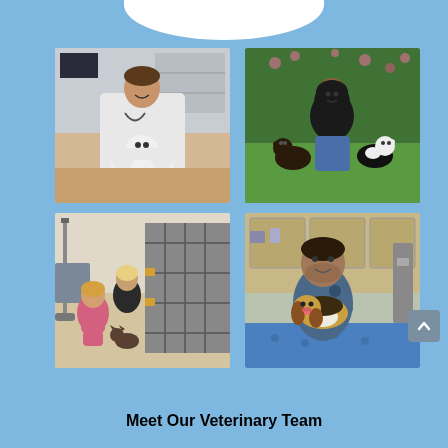[Figure (photo): Collage of four photos: top-left a male veterinarian in white coat kneeling with a white bulldog in a clinic; top-right a woman in black top kneeling outdoors on grass with two dogs; bottom-left two staff members in pink scrubs attending to animals in kennel cages; bottom-right a male staff member in blue scrubs holding a small puppy in a clinic.]
Meet Our Veterinary Team